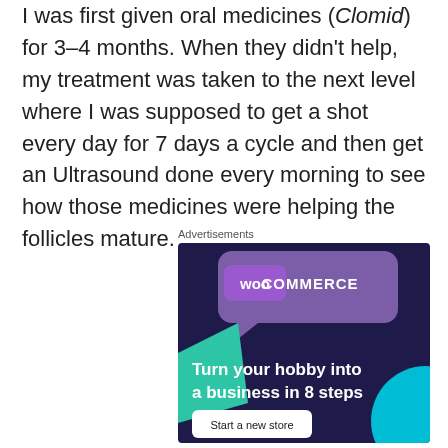I was first given oral medicines (Clomid) for 3–4 months. When they didn't help, my treatment was taken to the next level where I was supposed to get a shot every day for 7 days a cycle and then get an Ultrasound done every morning to see how those medicines were helping the follicles mature.
Advertisements
[Figure (illustration): WooCommerce advertisement banner with dark navy/purple background, purple speech-bubble logo area with 'WOO COMMERCE' text, teal triangle shape on left, cyan circle on right, white bold text 'Turn your hobby into a business in 8 steps', and a white 'Start a new store' button.]